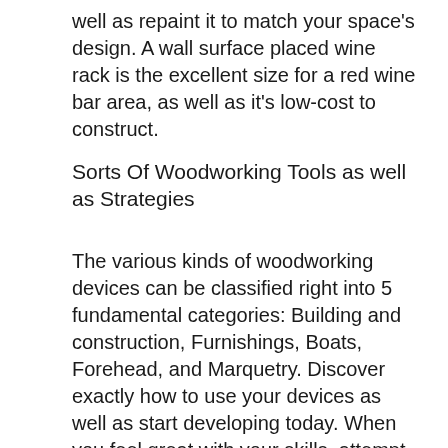well as repaint it to match your space's design. A wall surface placed wine rack is the excellent size for a red wine bar area, as well as it's low-cost to construct.
Sorts Of Woodworking Tools as well as Strategies
The various kinds of woodworking devices can be classified right into 5 fundamental categories: Building and construction, Furnishings, Boats, Forehead, and Marquetry. Discover exactly how to use your devices as well as start developing today. When you feel great with your skills, attempt building a tiny version. You can additionally make your own furnishings by complying with very easy woodworking jobs. These strategies will